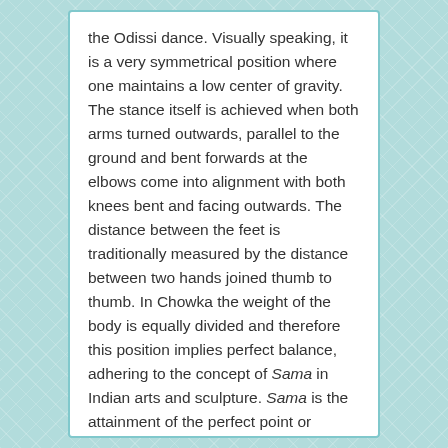the Odissi dance. Visually speaking, it is a very symmetrical position where one maintains a low center of gravity. The stance itself is achieved when both arms turned outwards, parallel to the ground and bent forwards at the elbows come into alignment with both knees bent and facing outwards. The distance between the feet is traditionally measured by the distance between two hands joined thumb to thumb. In Chowka the weight of the body is equally divided and therefore this position implies perfect balance, adhering to the concept of Sama in Indian arts and sculpture. Sama is the attainment of the perfect point or moment of balance along the body's vertical median. The posture represents the stance of Lord Jagannath, a manifestation of Vishnu, also known as the preserver among the gods of the Hindus, the so-called gods. Chowka is...